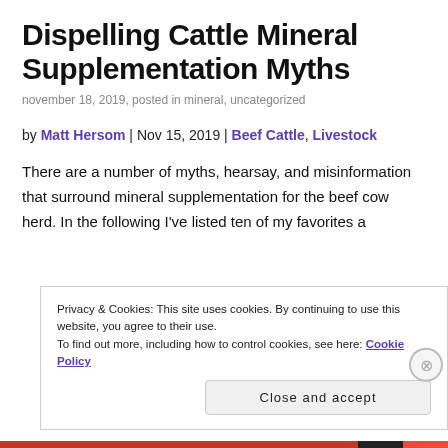Dispelling Cattle Mineral Supplementation Myths
november 18, 2019, posted in mineral, uncategorized
by Matt Hersom | Nov 15, 2019 | Beef Cattle, Livestock
There are a number of myths, hearsay, and misinformation that surround mineral supplementation for the beef cow herd. In the following I've listed ten of my favorites a
Privacy & Cookies: This site uses cookies. By continuing to use this website, you agree to their use.
To find out more, including how to control cookies, see here: Cookie Policy
Close and accept